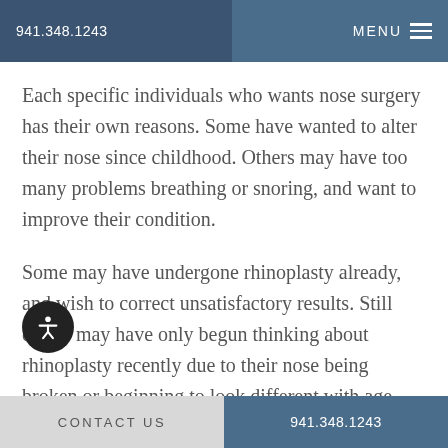941.348.1243   MENU
Each specific individuals who wants nose surgery has their own reasons. Some have wanted to alter their nose since childhood. Others may have too many problems breathing or snoring, and want to improve their condition.
Some may have undergone rhinoplasty already, and wish to correct unsatisfactory results. Still others may have only begun thinking about rhinoplasty recently due to their nose being broken or beginning to look different with age.
CONTACT US   941.348.1243